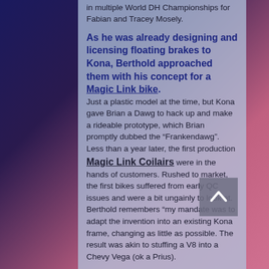in multiple World DH Championships for Fabian and Tracey Mosely.
As he was already designing and licensing floating brakes to Kona, Berthold approached them with his concept for a Magic Link bike. Just a plastic model at the time, but Kona gave Brian a Dawg to hack up and make a rideable prototype, which Brian promptly dubbed the “Frankendawg”. Less than a year later, the first production Magic Link Coilairs were in the hands of customers. Rushed to market, the first bikes suffered from early QC issues and were a bit ungainly to look at. Berthold remembers “my mandate was to adapt the invention into an existing Kona frame, changing as little as possible. The result was akin to stuffing a V8 into a Chevy Vega (ok a Prius).